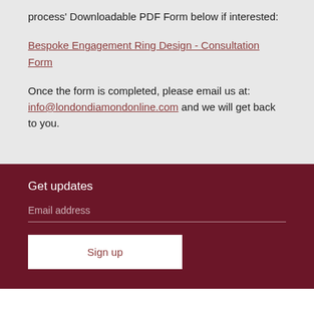process' Downloadable PDF Form below if interested:
Bespoke Engagement Ring Design - Consultation Form
Once the form is completed, please email us at: info@londondiamondonline.com and we will get back to you.
Get updates
Email address
Sign up